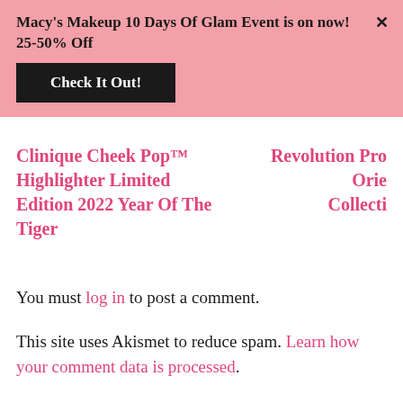[Figure (infographic): Pink promotional banner for Macy's Makeup 10 Days Of Glam Event with black Check It Out button and X close button]
Clinique Cheek Pop™ Highlighter Limited Edition 2022 Year Of The Tiger
Revolution Pro Orie Collecti
You must log in to post a comment.
This site uses Akismet to reduce spam. Learn how your comment data is processed.